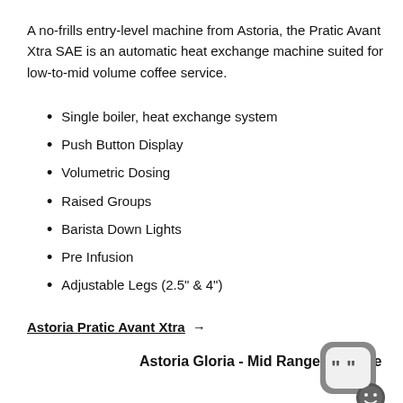A no-frills entry-level machine from Astoria, the Pratic Avant Xtra SAE is an automatic heat exchange machine suited for low-to-mid volume coffee service.
Single boiler, heat exchange system
Push Button Display
Volumetric Dosing
Raised Groups
Barista Down Lights
Pre Infusion
Adjustable Legs (2.5" & 4")
Astoria Pratic Avant Xtra →
Astoria Gloria - Mid Range Machine
[Figure (logo): Chat bubble logo icon with quotation marks and a smiley face, grey rounded square shape with a dark grey circular element at bottom right]